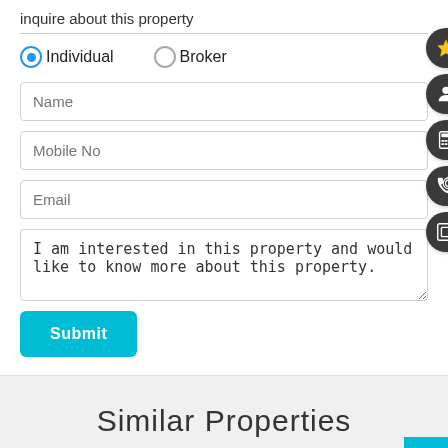inquire about this property
Individual (selected) | Broker
Name
Mobile No
Email
I am interested in this property and would like to know more about this property.
Submit
Similar Properties
. . . .